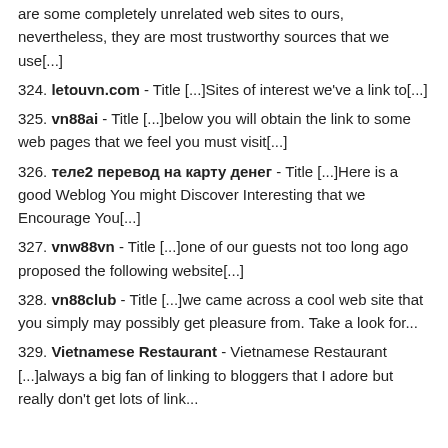are some completely unrelated web sites to ours, nevertheless, they are most trustworthy sources that we use[...]
324. letouvn.com - Title [...]Sites of interest we've a link to[...]
325. vn88ai - Title [...]below you will obtain the link to some web pages that we feel you must visit[...]
326. теле2 перевод на карту денег - Title [...]Here is a good Weblog You might Discover Interesting that we Encourage You[...]
327. vnw88vn - Title [...]one of our guests not too long ago proposed the following website[...]
328. vn88club - Title [...]we came across a cool web site that you simply may possibly get pleasure from. Take a look for...
329. Vietnamese Restaurant - Vietnamese Restaurant [...]always a big fan of linking to bloggers that I adore but really don't get lots of link...